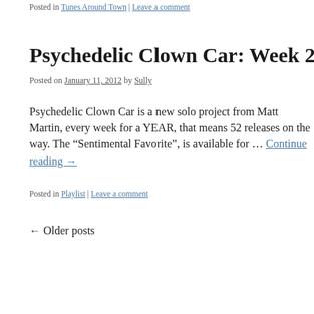Posted in Tunes Around Town | Leave a comment
Psychedelic Clown Car: Week 25 “Sentim…
Posted on January 11, 2012 by Sully
Psychedelic Clown Car is a new solo project from Matt Martin, every week for a YEAR, that means 52 releases on the way. The “Sentimental Favorite”, is available for … Continue reading →
Posted in Playlist | Leave a comment
← Older posts